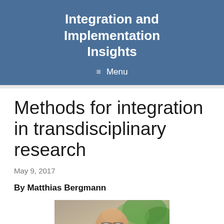Integration and Implementation Insights
Menu
Methods for integration in transdisciplinary research
May 9, 2017
By Matthias Bergmann
[Figure (photo): Portrait photo of Matthias Bergmann, a bald older man outdoors with trees in background]